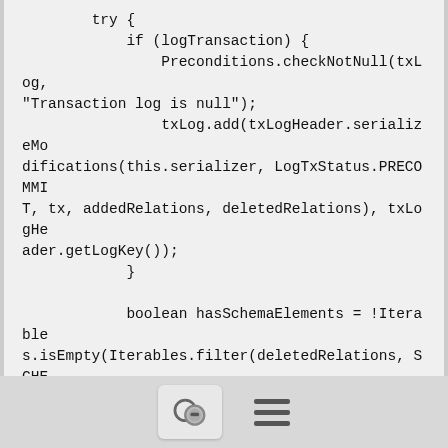try {
            if (logTransaction) {
                Preconditions.checkNotNull(txLog, "Transaction log is null");
                txLog.add(txLogHeader.serializeModifications(this.serializer, LogTxStatus.PRECOMMIT, tx, addedRelations, deletedRelations), txLogHeader.getLogKey());
            }

            boolean hasSchemaElements = !Iterables.isEmpty(Iterables.filter(deletedRelations, SCHEMA_FILTER)) || !Iterables.isEmpty(Iterables.filter(addedRelations, SCHEMA_FILTER));
            Preconditions.checkArgument(!hasSchemaElements || !tx.getConfiguration().hasEnabledBatchLoading() && acquireLocks, "Attempting to create schema elements in inconsistent state");
            StandardJanusGraph.ModificationSummary commitSummary;
[Figure (other): Bottom navigation bar with chat bubble icon button and hamburger menu icon]